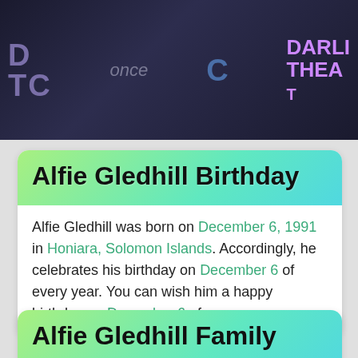[Figure (photo): Dark background photo with text overlays: 'DTC', 'once', 'C', 'DARLING THEAT' (theater signage)]
Alfie Gledhill Birthday
Alfie Gledhill was born on December 6, 1991 in Honiara, Solomon Islands. Accordingly, he celebrates his birthday on December 6 of every year. You can wish him a happy birthday on December 6 of every year.
Alfie Gledhill Family